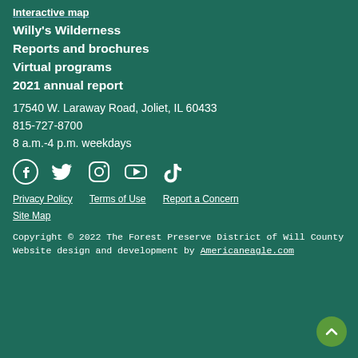Interactive map
Willy's Wilderness
Reports and brochures
Virtual programs
2021 annual report
17540 W. Laraway Road, Joliet, IL 60433
815-727-8700
8 a.m.-4 p.m. weekdays
[Figure (infographic): Social media icons: Facebook, Twitter, Instagram, YouTube, TikTok]
Privacy Policy   Terms of Use   Report a Concern
Site Map
Copyright © 2022 The Forest Preserve District of Will County
Website design and development by Americaneagle.com